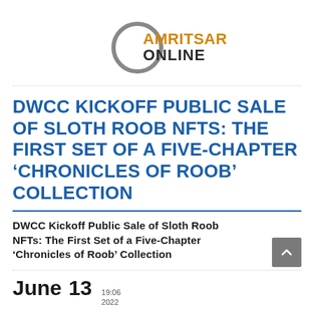[Figure (logo): Amritsar Online logo — circular ring graphic with 'AMRITSAR' in orange bold and 'ONLINE' in dark gray bold]
DWCC KICKOFF PUBLIC SALE OF SLOTH ROOB NFTS: THE FIRST SET OF A FIVE-CHAPTER ‘CHRONICLES OF ROOB’ COLLECTION
DWCC Kickoff Public Sale of Sloth Roob NFTs: The First Set of a Five-Chapter ‘Chronicles of Roob’ Collection
June 13   19:06 / 2022